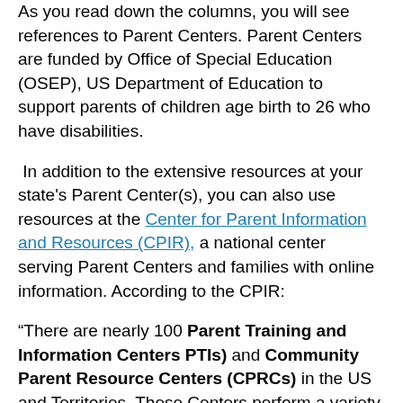As you read down the columns, you will see references to Parent Centers. Parent Centers are funded by Office of Special Education (OSEP), US Department of Education to support parents of children age birth to 26 who have disabilities.
In addition to the extensive resources at your state's Parent Center(s), you can also use resources at the Center for Parent Information and Resources (CPIR), a national center serving Parent Centers and families with online information. According to the CPIR:
“There are nearly 100 Parent Training and Information Centers PTIs) and Community Parent Resource Centers (CPRCs) in the US and Territories. These Centers perform a variety of direct services for children and youth with